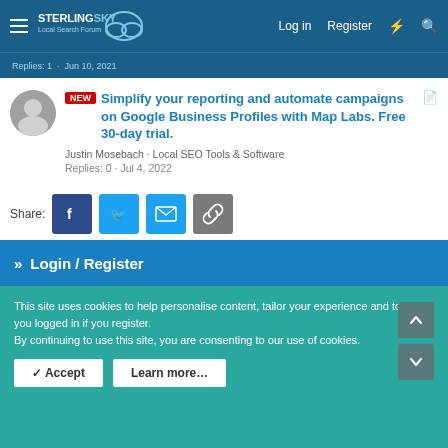Sterling Sky Local Search Forum — Log in   Register
Replies: 1 · Jun 10, 2021
NEW  Simplify your reporting and automate campaigns on Google Business Profiles with Map Labs. Free 30-day trial.
Justin Mosebach · Local SEO Tools & Software
Replies: 0 · Jul 4, 2022
Share:
» Login / Register
This site uses cookies to help personalise content, tailor your experience and to keep you logged in if you register.
By continuing to use this site, you are consenting to our use of cookies.
✓ Accept   Learn more…